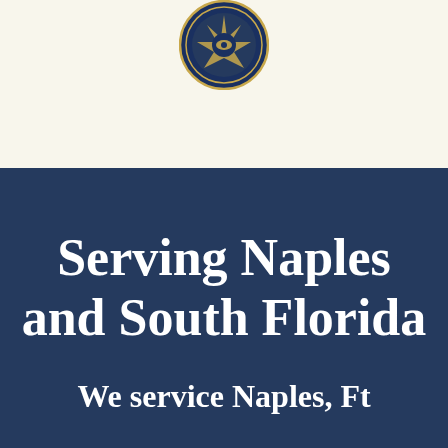[Figure (logo): Circular badge/seal logo with blue and gold colors, centered at the top of the page on a cream/off-white background]
Serving Naples and South Florida
We service Naples, Ft